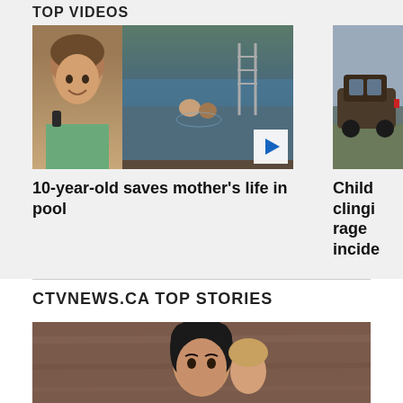TOP VIDEOS
[Figure (photo): Video thumbnail: boy in green shirt on left, pool safety incident on right with play button overlay]
[Figure (photo): Video thumbnail: child clinging to vehicle in road rage incident]
10-year-old saves mother's life in pool
Child clingi... rage incide...
CTVNEWS.CA TOP STORIES
[Figure (photo): News story image: woman with dark hair and child]